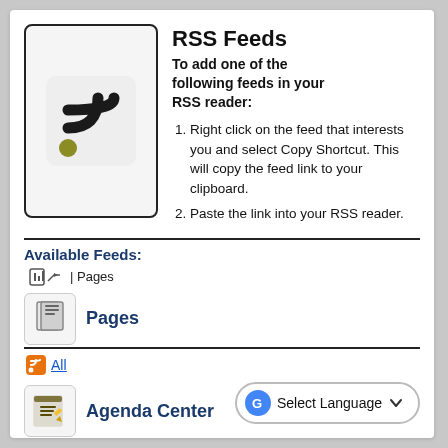[Figure (logo): RSS feed icon — black wifi-style arcs with a gold/olive dot at bottom left, on light grey rounded square background]
RSS Feeds
To add one of the following feeds in your RSS reader:
Right click on the feed that interests you and select Copy Shortcut. This will copy the feed link to your clipboard.
Paste the link into your RSS reader.
Available Feeds:
Pages
Pages
All
Agenda Center